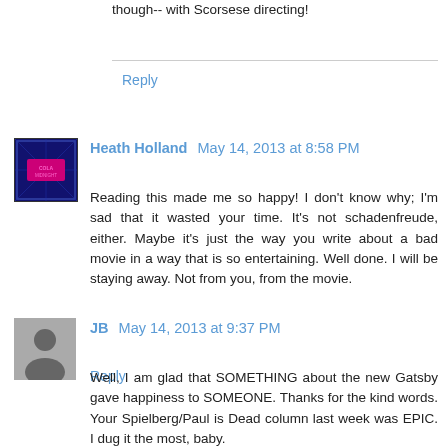though-- with Scorsese directing!
Reply
Heath Holland  May 14, 2013 at 8:58 PM
Reading this made me so happy! I don't know why; I'm sad that it wasted your time. It's not schadenfreude, either. Maybe it's just the way you write about a bad movie in a way that is so entertaining. Well done. I will be staying away. Not from you, from the movie.
Reply
JB  May 14, 2013 at 9:37 PM
Well, I am glad that SOMETHING about the new Gatsby gave happiness to SOMEONE. Thanks for the kind words. Your Spielberg/Paul is Dead column last week was EPIC. I dug it the most, baby.
Reply